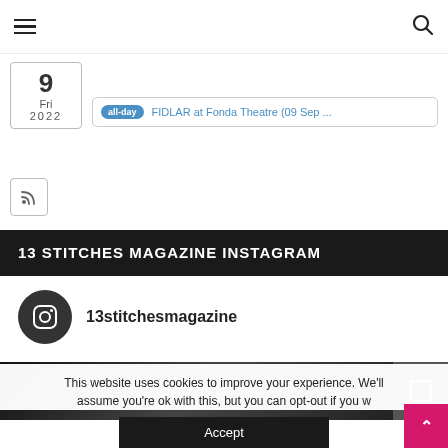Navigation bar with hamburger menu and search icon
9 Fri 2022
all-day FIDLAR at Fonda Theatre (09 Sep ...
[Figure (other): RSS feed button icon]
13 STITCHES MAGAZINE INSTAGRAM
13stitchesmagazine
[Figure (photo): Black and white concert photo strip]
This website uses cookies to improve your experience. We'll assume you're ok with this, but you can opt-out if you w
Accept